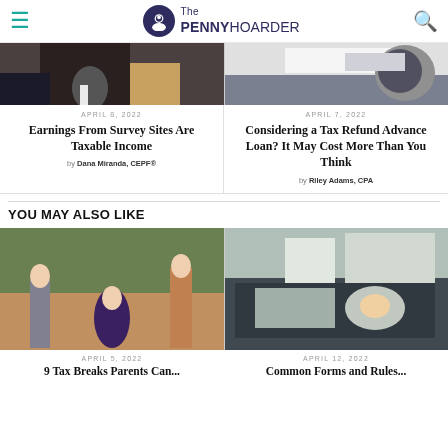The PENNY HOARDER
[Figure (photo): Partial image left: person in dark clothing with a sock, orange background]
[Figure (photo): Partial image right: document/paper near a car side mirror]
APRIL 8, 2022
Earnings From Survey Sites Are Taxable Income
by Dana Miranda, CEPF®
APRIL 7, 2022
Considering a Tax Refund Advance Loan? It May Cost More Than You Think
by Riley Adams, CPA
YOU MAY ALSO LIKE
[Figure (photo): Child holding hands with adults, outdoors park setting]
[Figure (photo): Man driving a car, street traffic in background]
APRIL 5, 2022
APRIL 12, 2022